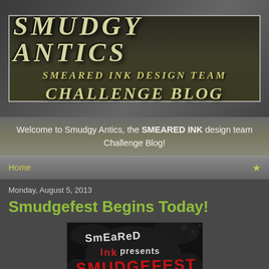[Figure (logo): Smudgy Antics blog header banner with distressed gothic text reading SMUDGY ANTICS - SMEARED INK DESIGN TEAM CHALLENGE BLOG on dark textured background]
Welcome to Smudgy Antics, the SMEARED INK design team Challenge Blog!
Home
Monday, August 5, 2013
Smudgefest Begins Today!
[Figure (photo): Smeared Ink Presents Smudgefest logo image with black ink splatter background and red and black distressed lettering]